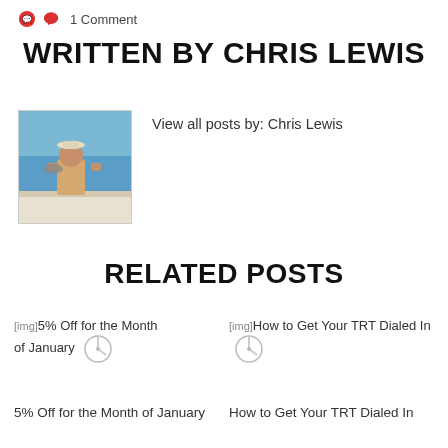1 Comment
WRITTEN BY CHRIS LEWIS
[Figure (photo): Author photo of Chris Lewis on a boat holding a fish, ocean in background]
View all posts by: Chris Lewis
RELATED POSTS
[Figure (photo): Loading thumbnail image for '5% Off for the Month of January' post]
5% Off for the Month of January
[Figure (photo): Loading thumbnail image for 'How to Get Your TRT Dialed In' post]
How to Get Your TRT Dialed In
5% Off for the Month of January
How to Get Your TRT Dialed In